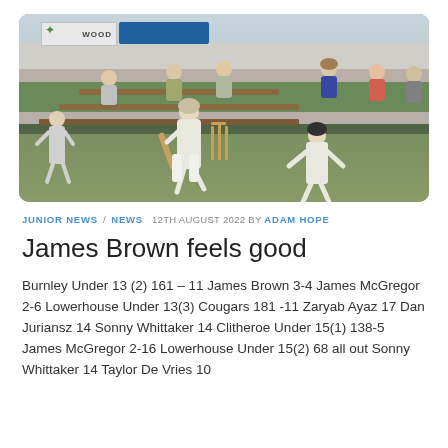[Figure (photo): Cricket match photo showing a batsman playing a shot at the crease, with a wicketkeeper behind the stumps and spectators seated in the background on benches. A 'WOOD' sponsor banner and blue sign are visible on the boundary wall.]
JUNIOR NEWS / NEWS  12TH AUGUST 2022 BY ADAM HOPE
James Brown feels good
Burnley Under 13 (2) 161 – 11 James Brown 3-4 James McGregor 2-6 Lowerhouse Under 13(3) Cougars 181 -11 Zaryab Ayaz 17 Dan Juriansz 14 Sonny Whittaker 14 Clitheroe Under 15(1) 138-5 James McGregor 2-16 Lowerhouse Under 15(2) 68 all out Sonny Whittaker 14 Taylor De Vries 10